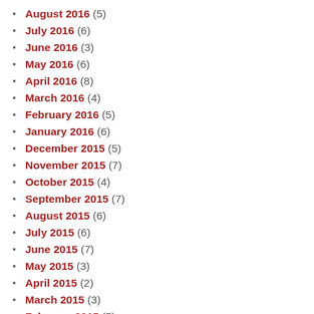August 2016 (5)
July 2016 (6)
June 2016 (3)
May 2016 (6)
April 2016 (8)
March 2016 (4)
February 2016 (5)
January 2016 (6)
December 2015 (5)
November 2015 (7)
October 2015 (4)
September 2015 (7)
August 2015 (6)
July 2015 (6)
June 2015 (7)
May 2015 (3)
April 2015 (2)
March 2015 (3)
February 2015 (5)
January 2015 (5)
December 2014 (12)